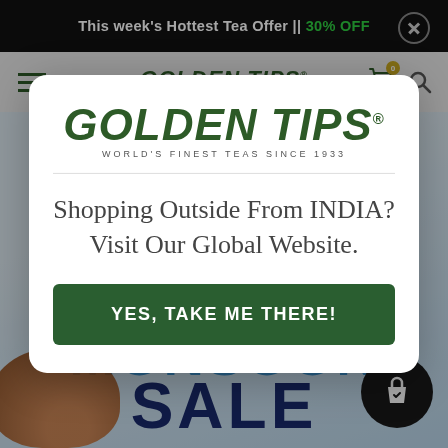This week's Hottest Tea Offer || 30% OFF
[Figure (screenshot): Golden Tips website navigation bar with hamburger menu, Golden Tips logo (WORLD'S FINEST TEAS SINCE 1933), cart icon with badge 0, and search icon]
[Figure (screenshot): Hero background showing Monsoon Sale promotional image with blue sky and tea cup]
[Figure (screenshot): Modal popup with Golden Tips logo, message 'Shopping Outside From INDIA? Visit Our Global Website.' and a green CTA button 'YES, TAKE ME THERE!']
Shopping Outside From INDIA? Visit Our Global Website.
YES, TAKE ME THERE!